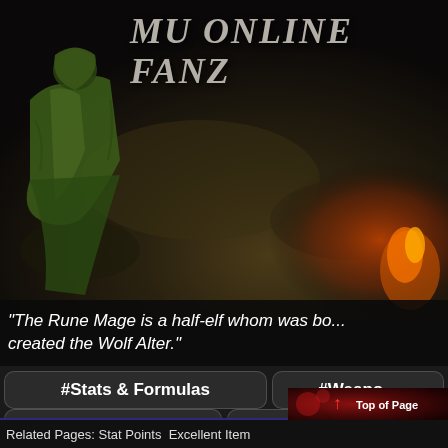[Figure (screenshot): MU Online Fanz website screenshot showing a Rune Mage character (green-cloaked half-elf) against a dark rocky terrain background]
MU Online Fanz
"The Rune Mage is a half-elf whom was bo... created the Wolf Alter."
#Stats & Formulas
#Weapo...
#Basic Skills
#Special Skills
Top of Page | Related Pages: Stat Points   Excellent Item